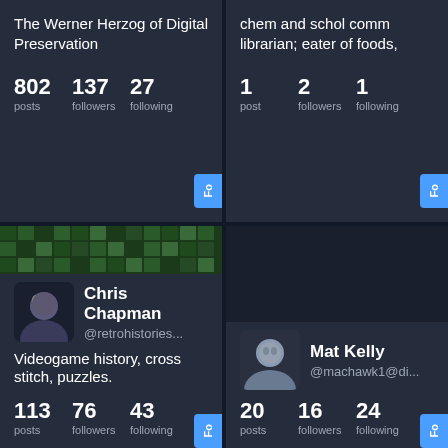The Werner Herzog of Digital Preservation
802 posts, 137 followers, 27 following
chem and schol comm librarian; eater of foods,
1 post, 2 followers, 1 following
[Figure (photo): Green mosaic collage banner image with grid of video game screenshots]
Chris Chapman @retrohistories...
Videogame history, cross stitch, puzzles.
113 posts, 76 followers, 43 following
[Figure (photo): Dark/black banner with no image]
Mat Kelly @machawk1@di...
20 posts, 16 followers, 24 following